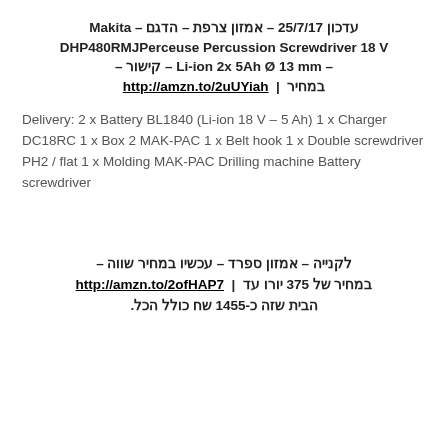עדכון 25/7/17 – אמזון צרפת – הדגם – Makita DHP480RMJPerceuse Percussion Screwdriver 18 V – Li-ion 2x 5Ah Ø 13 mm – קישור | http://amzn.to/2uUYiah במחיר
Delivery: 2 x Battery BL1840 (Li-ion 18 V – 5 Ah) 1 x Charger DC18RC 1 x Box 2 MAK-PAC 1 x Belt hook 1 x Double screwdriver PH2 / flat 1 x Molding MAK-PAC Drilling machine Battery screwdriver
לקנייה – אמזון ספרד – עכשיו במחיר שווה – | http://amzn.to/2ofHAP7 במחיר של 375 יורו עד הבית שזה כ-1455 שח כולל הכל.